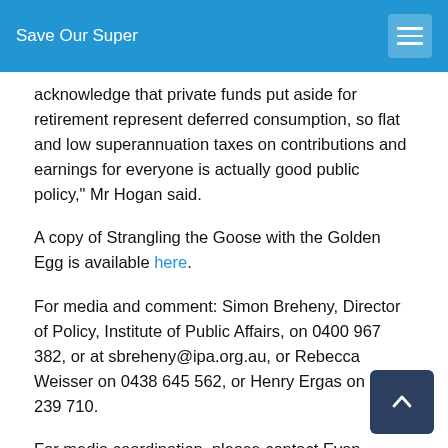Save Our Super
acknowledge that private funds put aside for retirement represent deferred consumption, so flat and low superannuation taxes on contributions and earnings for everyone is actually good public policy," Mr Hogan said.
A copy of Strangling the Goose with the Golden Egg is available here.
For media and comment: Simon Breheny, Director of Policy, Institute of Public Affairs, on 0400 967 382, or at sbreheny@ipa.org.au, or Rebecca Weisser on 0438 645 562, or Henry Ergas on 0419 239 710.
For media coordination, please contact Evan Mulholland, IPA Media and Communications Manager, on 0405 780, or at emulholland@ipa.org.au